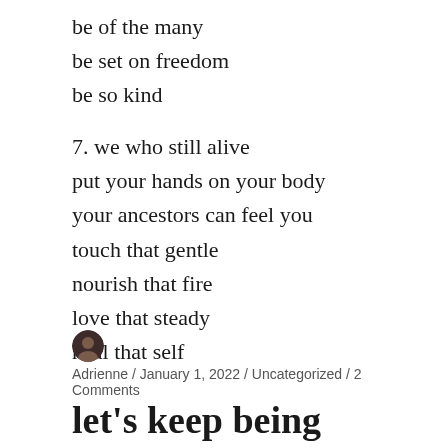be of the many
be set on freedom
be so kind
7. we who still alive
put your hands on your body
your ancestors can feel you
touch that gentle
nourish that fire
love that steady
heal that self
Adrienne / January 1, 2022 / Uncategorized / 2 Comments
let's keep being